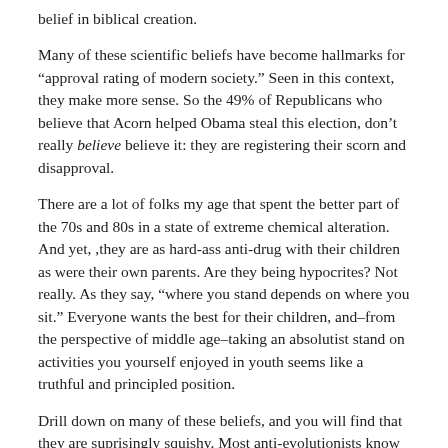belief in biblical creation.
Many of these scientific beliefs have become hallmarks for “approval rating of modern society.” Seen in this context, they make more sense. So the 49% of Republicans who believe that Acorn helped Obama steal this election, don’t really believe believe it: they are registering their scorn and disapproval.
There are a lot of folks my age that spent the better part of the 70s and 80s in a state of extreme chemical alteration. And yet, ,they are as hard-ass anti-drug with their children as were their own parents. Are they being hypocrites? Not really. As they say, “where you stand depends on where you sit.” Everyone wants the best for their children, and–from the perspective of middle age–taking an absolutist stand on activities you yourself enjoyed in youth seems like a truthful and principled position.
Drill down on many of these beliefs, and you will find that they are suprisingly squishy. Most anti-evolutionists know in their hearts that evolution is true: they just don’t like to think about the repercussions (“I’m descended from monkeys!”), or want society to abandon the tribal fiction of creation. And most global warming deniers devolve under challenge to narratives of cultural resentment (“ponty-headed scientists,” “statists,” widespread fraud).